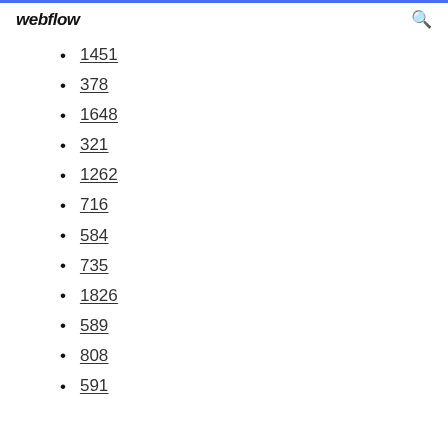webflow
1451
378
1648
321
1262
716
584
735
1826
589
808
591